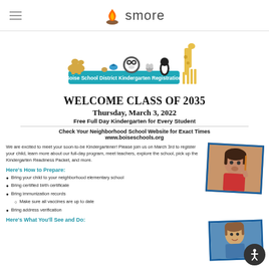smore
[Figure (illustration): Boise School District Kindergarten Registration banner with cartoon animals (camel, birds, panda, penguin, mouse, giraffe) above a teal label]
WELCOME CLASS OF 2035
Thursday, March 3, 2022
Free Full Day Kindergarten for Every Student
Check Your Neighborhood School Website for Exact Times
www.boiseschools.org
We are excited to meet your soon-to-be Kindergartener! Please join us on March 3rd to register your child, learn more about our full-day program, meet teachers, explore the school, pick up the Kindergarten Readiness Packet, and more.
[Figure (photo): Photo of a young child eating or drinking something, seated]
Here's How to Prepare:
Bring your child to your neighborhood elementary school
Bring certified birth certificate
Bring immunization records
Make sure all vaccines are up to date
Bring address verification
[Figure (photo): Photo of a young child, partially visible at bottom right]
Here's What You'll See and Do: